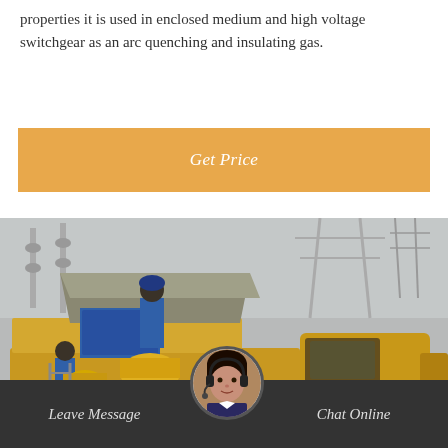properties it is used in enclosed medium and high voltage switchgear as an arc quenching and insulating gas.
Get Price
[Figure (photo): Workers in blue uniforms loading or operating yellow service truck with specialized equipment at an electrical substation with high-voltage structures in the background.]
Leave Message
Chat Online